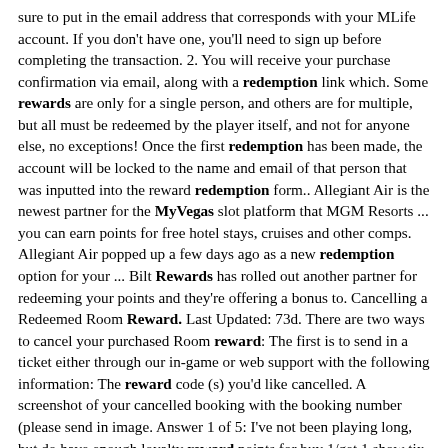sure to put in the email address that corresponds with your MLife account. If you don't have one, you'll need to sign up before completing the transaction. 2. You will receive your purchase confirmation via email, along with a redemption link which. Some rewards are only for a single person, and others are for multiple, but all must be redeemed by the player itself, and not for anyone else, no exceptions! Once the first redemption has been made, the account will be locked to the name and email of that person that was inputted into the reward redemption form.. Allegiant Air is the newest partner for the MyVegas slot platform that MGM Resorts ... you can earn points for free hotel stays, cruises and other comps. Allegiant Air popped up a few days ago as a new redemption option for your ... Bilt Rewards has rolled out another partner for redeeming your points and they're offering a bonus to. Cancelling a Redeemed Room Reward. Last Updated: 73d. There are two ways to cancel your purchased Room reward: The first is to send in a ticket either through our in-game or web support with the following information: The reward code (s) you'd like cancelled. A screenshot of your cancelled booking with the booking number (please send in image. Answer 1 of 5: I've not been playing long, but do have enough loyalty reward points for buy 1/get 1 show tix that I'd like to get for our upcoming trip this Sunday. How does the redemption work? Do I have enough time to get the reward ticket, before my... Las Vegas. Las Vegas Tourism Las Vegas Hotels Las Vegas Bed and Breakfast. Answer 1